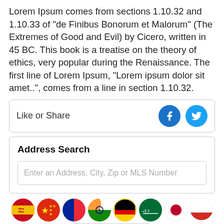Lorem Ipsum comes from sections 1.10.32 and 1.10.33 of "de Finibus Bonorum et Malorum" (The Extremes of Good and Evil) by Cicero, written in 45 BC. This book is a treatise on the theory of ethics, very popular during the Renaissance. The first line of Lorem Ipsum, "Lorem ipsum dolor sit amet..", comes from a line in section 1.10.32.
Like or Share
Address Search
Enter an Address, City, Zip or MLS Number
[Figure (other): Row of 8 circular country flag icons: Spain, China, France, India, Germany, Saudi Arabia, Japan, Russia]